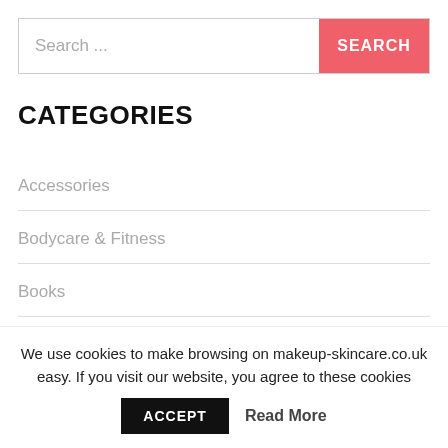Search ...
CATEGORIES
Accessories
Bodycare & Fitness
Books
We use cookies to make browsing on makeup-skincare.co.uk easy. If you visit our website, you agree to these cookies
ACCEPT
Read More